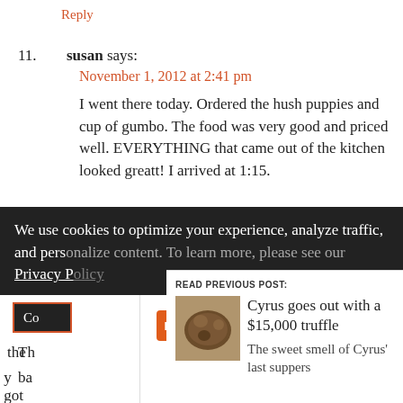Reply
11. susan says:
November 1, 2012 at 2:41 pm
I went there today. Ordered the hush puppies and cup of gumbo. The food was very good and priced well. EVERYTHING that came out of the kitchen looked greatt! I arrived at 1:15.
[Figure (infographic): Exchange Bank advertisement: EB orange logo on left white panel with FDIC Member logo and NMLS ID 643948. Right dark navy panel says 'Helping local families and businesses since 1890.' with EXCHANGEBANK.COM link.]
We use cookies to optimize your experience, analyze traffic, and personalize content. To learn more, please see our Privacy Policy
Co
READ PREVIOUS POST:
Cyrus goes out with a $15,000 truffle
The sweet smell of Cyrus' last suppers